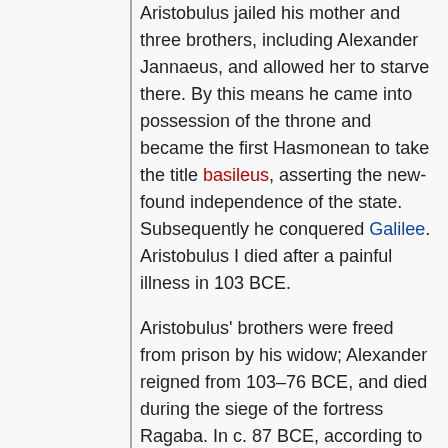Aristobulus jailed his mother and three brothers, including Alexander Jannaeus, and allowed her to starve there. By this means he came into possession of the throne and became the first Hasmonean to take the title basileus, asserting the new-found independence of the state. Subsequently he conquered Galilee. Aristobulus I died after a painful illness in 103 BCE.
Aristobulus' brothers were freed from prison by his widow; Alexander reigned from 103–76 BCE, and died during the siege of the fortress Ragaba. In c. 87 BCE, according to Josephus, following a six-year civil war involving Seleucid king Demetrius III Eucaerus, Hasmonean ruler Alexander Jannaeus crucified 800 Jewish rebels in Jerusalem.
The Hasmoneans lost the territories